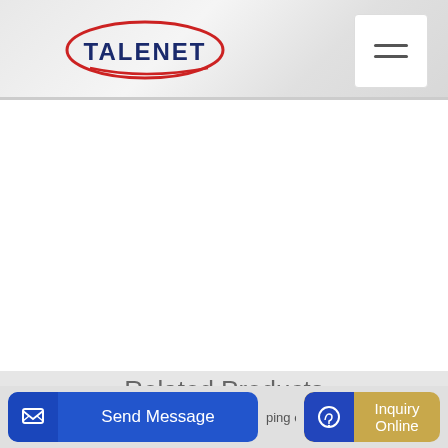[Figure (logo): TALENET logo with red ellipse arc and blue text on textured grey header background with hamburger menu icon]
Related Products
productivity 110m3 batching plant for sale in indonesia
wm45h mortar mixer
ping o
Send Message
Inquiry Online